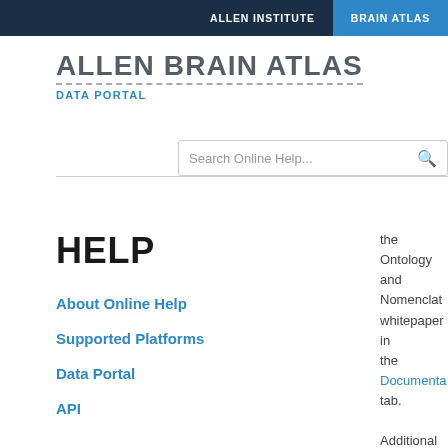ALLEN INSTITUTE   BRAIN ATLAS
ALLEN BRAIN ATLAS
DATA PORTAL
Search Online Help...
HELP
About Online Help
Supported Platforms
Data Portal
API
the Ontology and Nomenclature whitepaper in the Documentation tab.

Additional information is